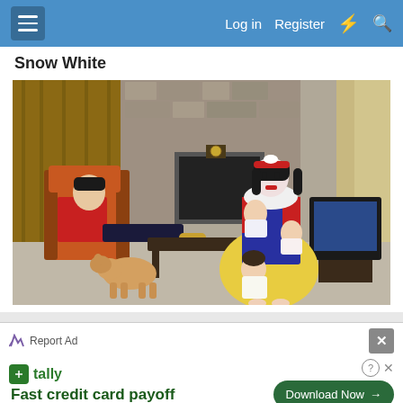Log in  Register
Snow White
[Figure (photo): A woman dressed in a Snow White costume (blue, yellow, and red dress with white collar) stands in a living room holding two babies, while a toddler clings to her legs. A man in a red prince costume reclines in a chair watching TV. A dog walks in the foreground. The room has a stone fireplace and wood paneling in the background.]
Report Ad
tally  Fast credit card payoff
Download Now →